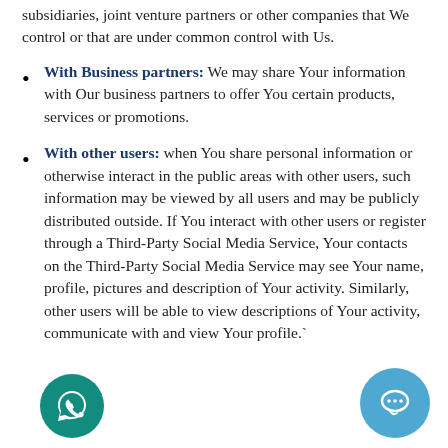subsidiaries, joint venture partners or other companies that We control or that are under common control with Us.
With Business partners: We may share Your information with Our business partners to offer You certain products, services or promotions.
With other users: when You share personal information or otherwise interact in the public areas with other users, such information may be viewed by all users and may be publicly distributed outside. If You interact with other users or register through a Third-Party Social Media Service, Your contacts on the Third-Party Social Media Service may see Your name, profile, pictures and description of Your activity. Similarly, other users will be able to view descriptions of Your activity, communicate with and view Your profile.`